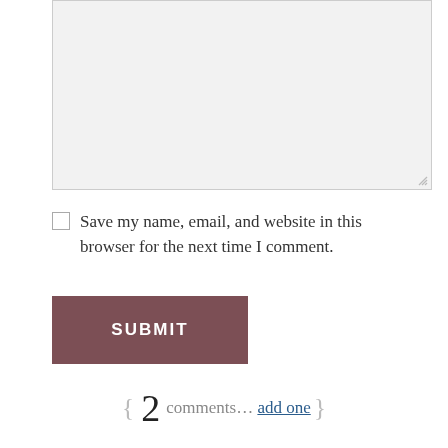[Figure (screenshot): Textarea input box for comment form, light gray background with resize handle]
Save my name, email, and website in this browser for the next time I comment.
SUBMIT
{ 2 comments... add one }
Jill Parris
May 30, 2016, 3:36 pm
Impeachment sounds logical doesn't it?